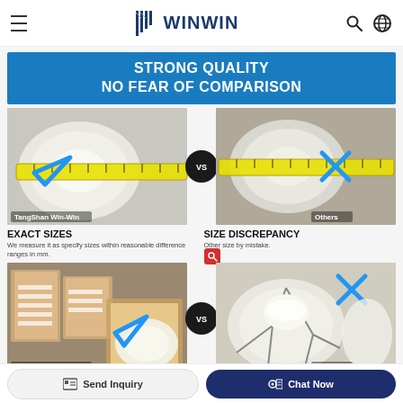WINWIN
[Figure (infographic): WINWIN brand quality comparison infographic showing 'STRONG QUALITY NO FEAR OF COMPARISON'. Top half shows two plates being measured with a tape measure — TangShan Win-Win (checkmark, EXACT SIZES) vs Others (X mark, SIZE DISCREPANCY). Bottom half shows packaging comparison — TangShan Win-Win (intact dishes in box, checkmark) vs Others (broken/cracked dish, X mark).]
EXACT SIZES
We measure it as specify sizes within reasonable difference ranges in mm.
SIZE DISCREPANCY
Other size by mistake.
Send Inquiry   Chat Now